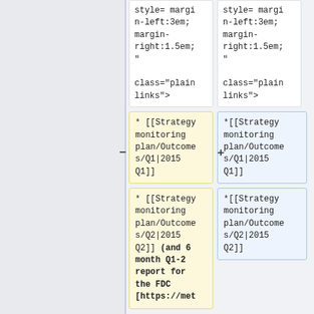style= margin-left:3em; margin-right:1.5em; "
class="plainlinks">
style= margin-left:3em; margin-right:1.5em; "
class="plainlinks">
* [[Strategy monitoring plan/Outcomes/Q1|2015 Q1]]
*[[Strategy monitoring plan/Outcomes/Q1|2015 Q1]]
* [[Strategy monitoring plan/Outcomes/Q2|2015 Q2]] (and 6 month Q1-2 report for the FDC [https://met
*[[Strategy monitoring plan/Outcomes/Q2|2015 Q2]]